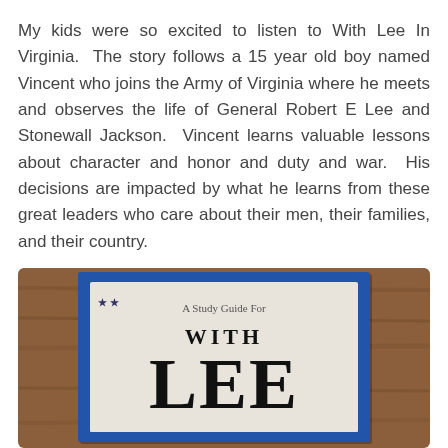My kids were so excited to listen to With Lee In Virginia.  The story follows a 15 year old boy named Vincent who joins the Army of Virginia where he meets and observes the life of General Robert E Lee and Stonewall Jackson.  Vincent learns valuable lessons about character and honor and duty and war.  His decisions are impacted by what he learns from these great leaders who care about their men, their families, and their country.
[Figure (photo): A photo of a book study guide titled 'A Study Guide For WITH LEE' with a blue cover, displayed on a wooden surface.]